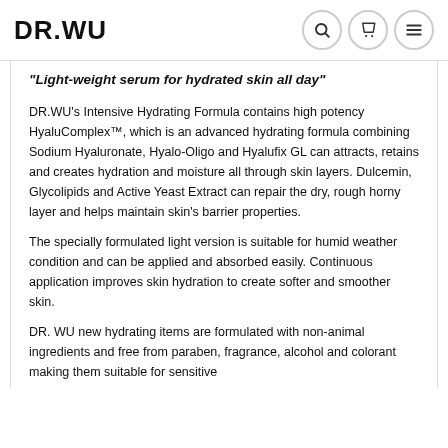DR.WU
"Light-weight serum for hydrated skin all day"
DR.WU's Intensive Hydrating Formula contains high potency HyaluComplex™, which is an advanced hydrating formula combining Sodium Hyaluronate, Hyalo-Oligo and Hyalufix GL can attracts, retains and creates hydration and moisture all through skin layers. Dulcemin, Glycolipids and Active Yeast Extract can repair the dry, rough horny layer and helps maintain skin's barrier properties.
The specially formulated light version is suitable for humid weather condition and can be applied and absorbed easily. Continuous application improves skin hydration to create softer and smoother skin.
DR. WU new hydrating items are formulated with non-animal ingredients and free from paraben, fragrance, alcohol and colorant making them suitable for sensitive